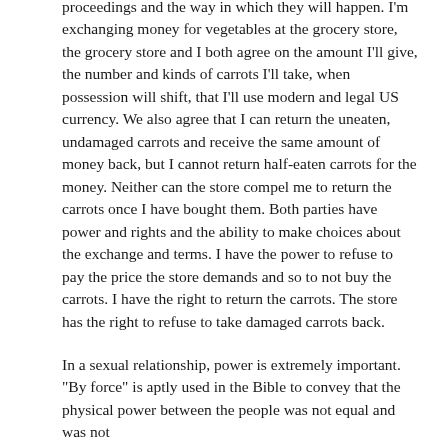proceedings and the way in which they will happen. I'm exchanging money for vegetables at the grocery store, the grocery store and I both agree on the amount I'll give, the number and kinds of carrots I'll take, when possession will shift, that I'll use modern and legal US currency. We also agree that I can return the uneaten, undamaged carrots and receive the same amount of money back, but I cannot return half-eaten carrots for the money. Neither can the store compel me to return the carrots once I have bought them. Both parties have power and rights and the ability to make choices about the exchange and terms. I have the power to refuse to pay the price the store demands and so to not buy the carrots. I have the right to return the carrots. The store has the right to refuse to take damaged carrots back.
In a sexual relationship, power is extremely important. "By force" is aptly used in the Bible to convey that the physical power between the people was not equal and was not mutually free consequences and the consequence the …